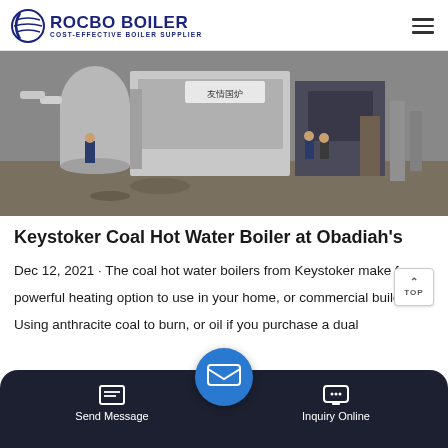ROCBO BOILER — COST-EFFECTIVE BOILER SUPPLIER
[Figure (photo): Industrial boiler installation site showing large silver/metallic boiler units with Chinese signage, workers in the foreground and background, piping and industrial equipment visible.]
Keystoker Coal Hot Water Boiler at Obadiah's
Dec 12, 2021 · The coal hot water boilers from Keystoker make for a powerful heating option to use in your home, or commercial building. Using anthracite coal to burn, or oil if you purchase a dual boiler produc…
Send Message | Inquiry Online